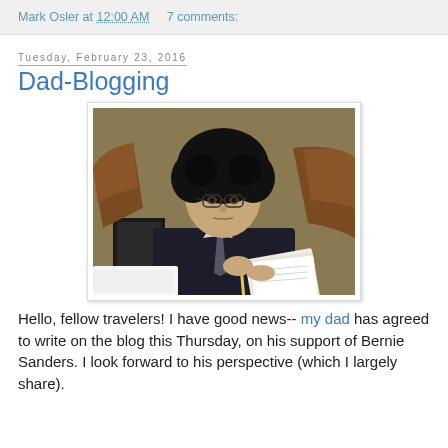Mark Osler at 12:00 AM   7 comments:
Tuesday, February 23, 2016
Dad-Blogging
[Figure (photo): Young man with curly black hair and glasses, wearing a dark suit and tie, seated in a brown leather chair, holding papers and a pencil, looking at the camera.]
Hello, fellow travelers! I have good news-- my dad has agreed to write on the blog this Thursday, on his support of Bernie Sanders. I look forward to his perspective (which I largely share).